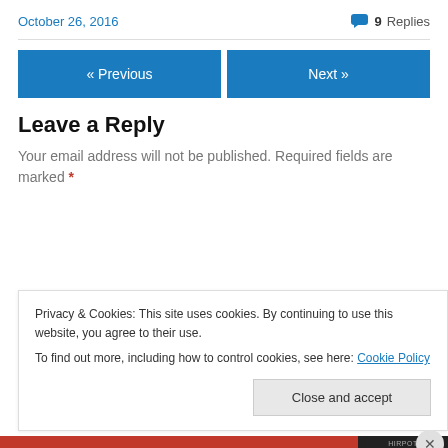October 26, 2016
💬 9 Replies
« Previous
Next »
Leave a Reply
Your email address will not be published. Required fields are marked *
Privacy & Cookies: This site uses cookies. By continuing to use this website, you agree to their use.
To find out more, including how to control cookies, see here: Cookie Policy
Close and accept